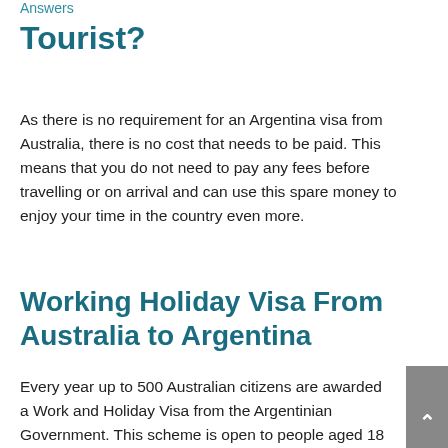Answers
Tourist?
As there is no requirement for an Argentina visa from Australia, there is no cost that needs to be paid. This means that you do not need to pay any fees before travelling or on arrival and can use this spare money to enjoy your time in the country even more.
Working Holiday Visa From Australia to Argentina
Every year up to 500 Australian citizens are awarded a Work and Holiday Visa from the Argentinian Government. This scheme is open to people aged 18 – 30 who want to spend up to a year visiting the country and undertaking short term employment to fund their time...